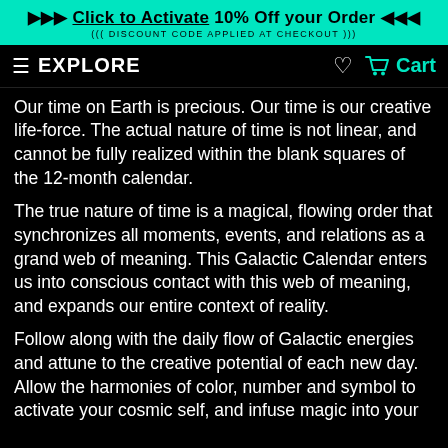▶▶▶ Click to Activate 10% Off your Order ◀◀◀
((( DISCOUNT CODE APPLIED AT CHECKOUT )))
≡ EXPLORE    ♡  🛒 Cart
Our time on Earth is precious. Our time is our creative life-force. The actual nature of time is not linear, and cannot be fully realized within the blank squares of the 12-month calendar.
The true nature of time is a magical, flowing order that synchronizes all moments, events, and relations as a grand web of meaning. This Galactic Calendar enters us into conscious contact with this web of meaning, and expands our entire context of reality.
Follow along with the daily flow of Galactic energies and attune to the creative potential of each new day. Allow the harmonies of color, number and symbol to activate your cosmic self, and infuse magic into your